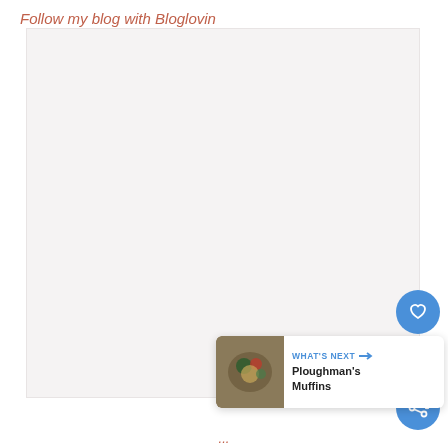Follow my blog with Bloglovin
[Figure (other): Large light gray placeholder image area]
[Figure (infographic): Floating action buttons: heart (like) button in blue circle, count '1', share button in blue circle]
[Figure (infographic): What's Next card with thumbnail of food/muffins image, label 'WHAT'S NEXT' with arrow, title 'Ploughman's Muffins']
...